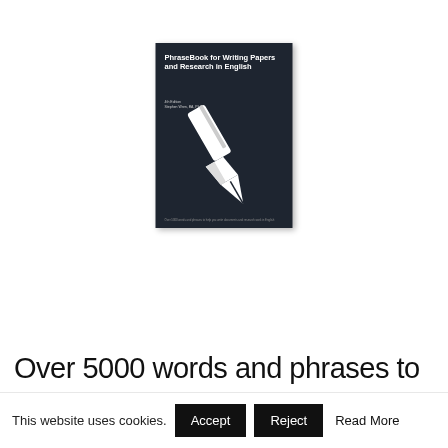[Figure (illustration): Book cover of 'PhraseBook for Writing Papers and Research in English' — dark navy/charcoal background with a large white fountain pen nib illustration and white title text. Small subtitle and author text below the title. Small text at the bottom of the cover.]
Over 5000 words and phrases to
This website uses cookies.
Accept
Reject
Read More